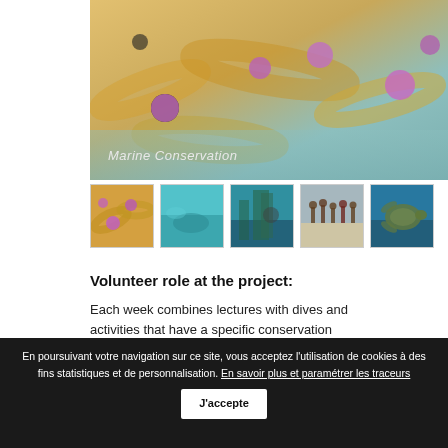[Figure (photo): Marine life hero image showing sea anemone tentacles in golden tones with purple-pink anemonefish eggs or sea anemone tips, with teal/blue overlay band at bottom labeled 'Marine Conservation']
[Figure (photo): Thumbnail 1: close-up of sea anemone with purple dots on golden background]
[Figure (photo): Thumbnail 2: underwater scene with teal water and marine life]
[Figure (photo): Thumbnail 3: underwater diver near coral or kelp]
[Figure (photo): Thumbnail 4: group of people standing on a beach]
[Figure (photo): Thumbnail 5: sea turtle underwater]
Volunteer role at the project:
Each week combines lectures with dives and activities that have a specific conservation focus. These may include:
En poursuivant votre navigation sur ce site, vous acceptez l'utilisation de cookies à des fins statistiques et de personnalisation. En savoir plus et paramétrer les traceurs